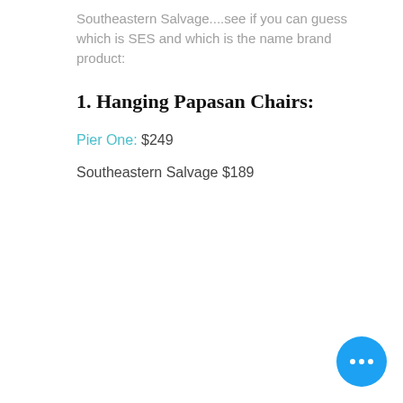Southeastern Salvage....see if you can guess which is SES and which is the name brand product:
1. Hanging Papasan Chairs:
Pier One: $249
Southeastern Salvage $189